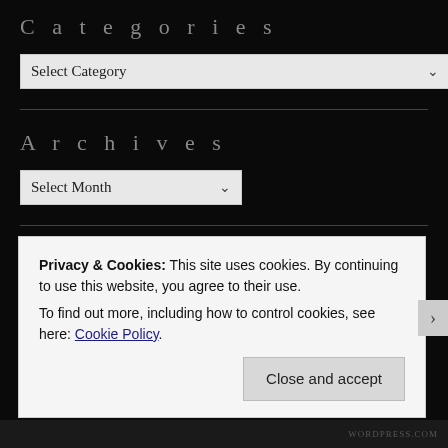Categories
Select Category
Archives
Select Month
Tags
Privacy & Cookies: This site uses cookies. By continuing to use this website, you agree to their use.
To find out more, including how to control cookies, see here: Cookie Policy
Close and accept